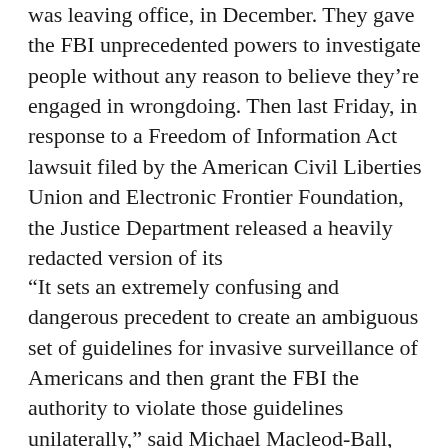was leaving office, in December. They gave the FBI unprecedented powers to investigate people without any reason to believe they're engaged in wrongdoing. Then last Friday, in response to a Freedom of Information Act lawsuit filed by the American Civil Liberties Union and Electronic Frontier Foundation, the Justice Department released a heavily redacted version of its
“It sets an extremely confusing and dangerous precedent to create an ambiguous set of guidelines for invasive surveillance of Americans and then grant the FBI the authority to violate those guidelines unilaterally,” said Michael Macleod-Ball, acting director of the ACLU Washington Legislative Office, in a statement released Tuesday. “We remain concerned